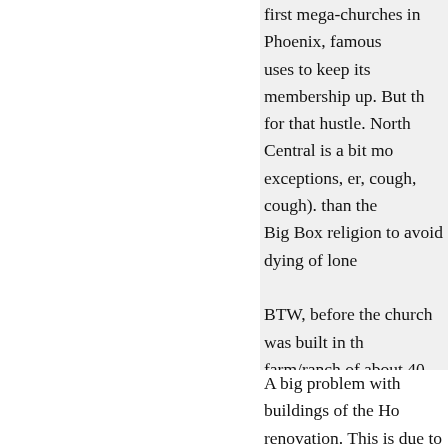first mega-churches in Phoenix, famous uses to keep its membership up. But th for that hustle. North Central is a bit m exceptions, er, cough, cough). than the Big Box religion to avoid dying of lone
BTW, before the church was built in th farm/ranch of about 40 acres - was one Driving up Central, you'd see Squaw P surround by a citrus grove, with cattle those sights that made me love Phoeni gone, never to return, much like youth
A big problem with buildings of the Ho renovation. This is due to many things typically drenched in asbestos, (2) lead obsolete HVAC, plumbing, electrical a typically grand-fathered to the buildin